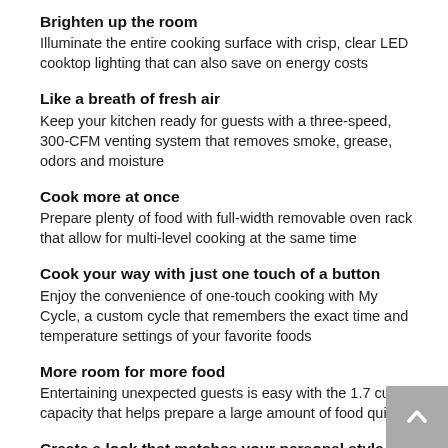Brighten up the room
Illuminate the entire cooking surface with crisp, clear LED cooktop lighting that can also save on energy costs
Like a breath of fresh air
Keep your kitchen ready for guests with a three-speed, 300-CFM venting system that removes smoke, grease, odors and moisture
Cook more at once
Prepare plenty of food with full-width removable oven rack that allow for multi-level cooking at the same time
Cook your way with just one touch of a button
Enjoy the convenience of one-touch cooking with My Cycle, a custom cycle that remembers the exact time and temperature settings of your favorite foods
More room for more food
Entertaining unexpected guests is easy with the 1.7 cu. ft. capacity that helps prepare a large amount of food quickly
Create a look that matches your personal style
Select any combination of premium finishes and hardware